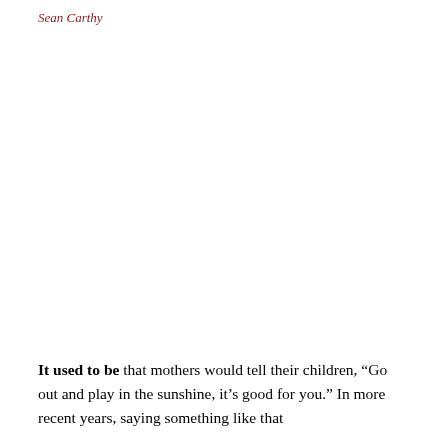Sean Carthy
It used to be that mothers would tell their children, “Go out and play in the sunshine, it’s good for you.” In more recent years, saying something like that